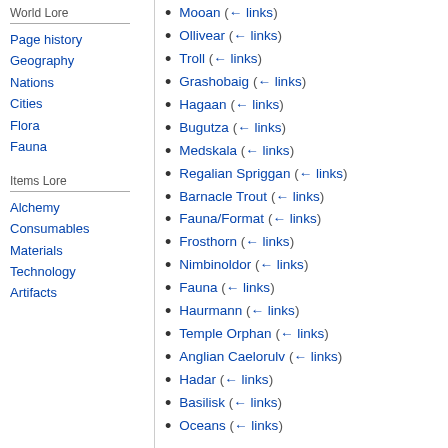World Lore
Page history
Geography
Nations
Cities
Flora
Fauna
Items Lore
Alchemy
Consumables
Materials
Technology
Artifacts
Mooan  (← links)
Ollivear  (← links)
Troll  (← links)
Grashobaig  (← links)
Hagaan  (← links)
Bugutza  (← links)
Medskala  (← links)
Regalian Spriggan  (← links)
Barnacle Trout  (← links)
Fauna/Format  (← links)
Frosthorn  (← links)
Nimbinoldor  (← links)
Fauna  (← links)
Haurmann  (← links)
Temple Orphan  (← links)
Anglian Caelorulv  (← links)
Hadar  (← links)
Basilisk  (← links)
Oceans  (← links)